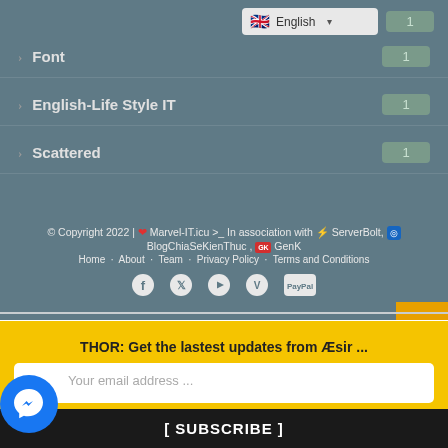Font — 1
English-Life Style IT — 1
Scattered — 1
© Copyright 2022 | ❤ Marvel-IT.icu >_ In association with ⚡ ServerBolt, 🔵 BlogChiaSeKienThuc , GK GenK
Home  About  Team  Privacy Policy  Terms and Conditions
Social icons: Facebook, Twitter, YouTube, Vimeo, PayPal
THOR: Get the lastest updates from Æsir ...
Your email address ...
[ SUBSCRIBE ]